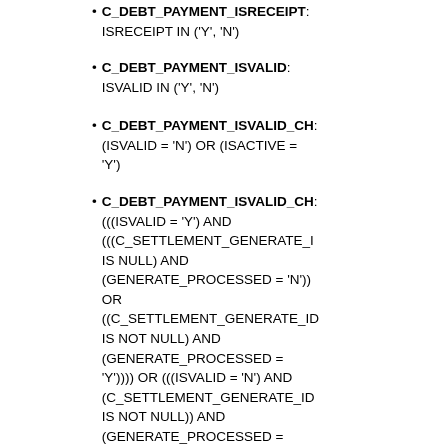C_DEBT_PAYMENT_ISRECEIPT: ISRECEIPT IN ('Y', 'N')
C_DEBT_PAYMENT_ISVALID: ISVALID IN ('Y', 'N')
C_DEBT_PAYMENT_ISVALID_CH: (ISVALID = 'N') OR (ISACTIVE = 'Y')
C_DEBT_PAYMENT_ISVALID_CH: (((ISVALID = 'Y') AND (((C_SETTLEMENT_GENERATE_I IS NULL) AND (GENERATE_PROCESSED = 'N')) OR ((C_SETTLEMENT_GENERATE_ID IS NOT NULL) AND (GENERATE_PROCESSED = 'Y')))) OR (((ISVALID = 'N') AND (C_SETTLEMENT_GENERATE_ID IS NOT NULL)) AND (GENERATE_PROCESSED = 'N'))) OR ((ISVALID = 'N') AND (ISAUTOMATICGENERATED = 'N'))
top
Indexes
These are the indexes for this table (for